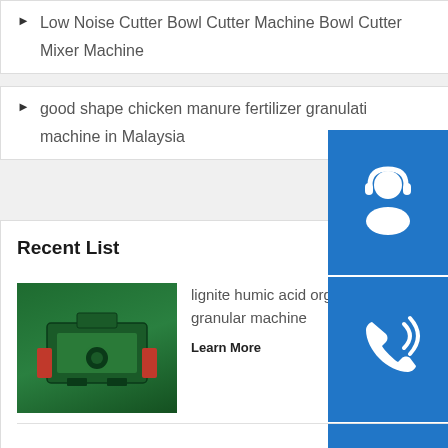Low Noise Cutter Bowl Cutter Machine Bowl Cutter Mixer Machine
good shape chicken manure fertilizer granulation machine in Malaysia
Recent List
[Figure (photo): Green industrial fertilizer granular machine in a factory setting]
lignite humic acid organic fertilizer granular machine
Learn More
[Figure (photo): Orange and red industrial ring die pellet machine outdoors]
newest ce iso approved xgj850 2 5 3 ton per hour ring die in Laos